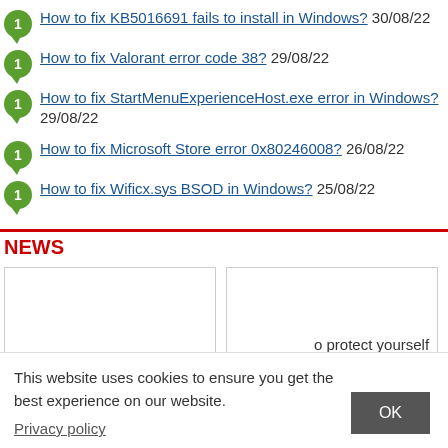How to fix KB5016691 fails to install in Windows? 30/08/22
How to fix Valorant error code 38? 29/08/22
How to fix StartMenuExperienceHost.exe error in Windows? 29/08/22
How to fix Microsoft Store error 0x80246008? 26/08/22
How to fix Wificx.sys BSOD in Windows? 25/08/22
NEWS
[Figure (other): Two empty news image placeholder boxes side by side]
o protect yourself each
This website uses cookies to ensure you get the best experience on our website.
Privacy policy
OK